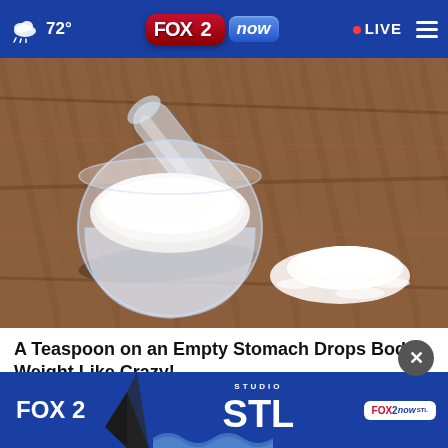72° FOX 2 now LIVE
[Figure (photo): A clear plastic measuring scoop filled with white powder sitting on a wooden table surface, with a small pile of white powder beside it.]
A Teaspoon on an Empty Stomach Drops Body Weight Like Crazy!
Trending Now Finds
[Figure (logo): FOX 2 Studio STL FOX 2 now advertisement banner]